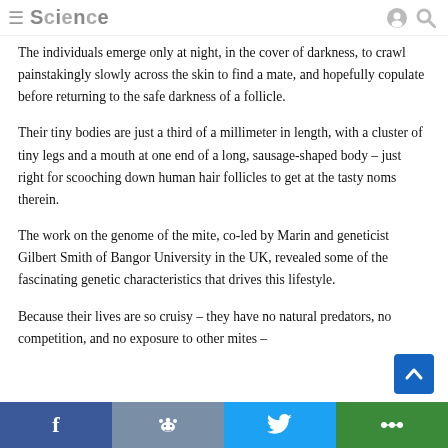Science
The individuals emerge only at night, in the cover of darkness, to crawl painstakingly slowly across the skin to find a mate, and hopefully copulate before returning to the safe darkness of a follicle.
Their tiny bodies are just a third of a millimeter in length, with a cluster of tiny legs and a mouth at one end of a long, sausage-shaped body – just right for scooching down human hair follicles to get at the tasty noms therein.
The work on the genome of the mite, co-led by Marin and geneticist Gilbert Smith of Bangor University in the UK, revealed some of the fascinating genetic characteristics that drives this lifestyle.
Because their lives are so cruisy – they have no natural predators, no competition, and no exposure to other mites –
Facebook | Reddit | Twitter | More